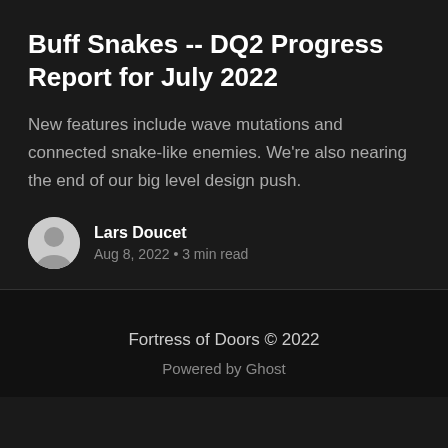Buff Snakes -- DQ2 Progress Report for July 2022
New features include wave mutations and connected snake-like enemies. We're also nearing the end of our big level design push.
Lars Doucet
Aug 8, 2022 • 3 min read
Fortress of Doors © 2022
Powered by Ghost